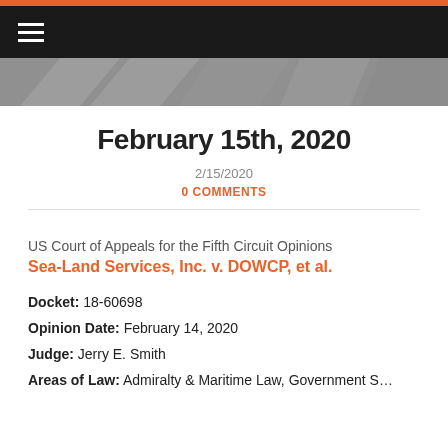February 15th, 2020
2/15/2020
0 COMMENTS
US Court of Appeals for the Fifth Circuit Opinions
Sea-Land Services, Inc. v. DOWCP, et al.
Docket: 18-60698
Opinion Date: February 14, 2020
Judge: Jerry E. Smith
Areas of Law: Admiralty & Maritime Law, Government S…